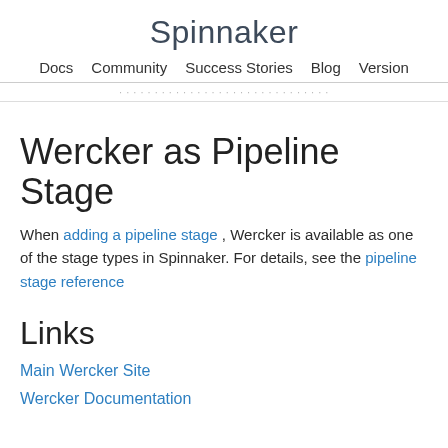Spinnaker
Docs   Community   Success Stories   Blog   Version
Wercker as Pipeline Stage
When adding a pipeline stage , Wercker is available as one of the stage types in Spinnaker. For details, see the pipeline stage reference
Links
Main Wercker Site
Wercker Documentation